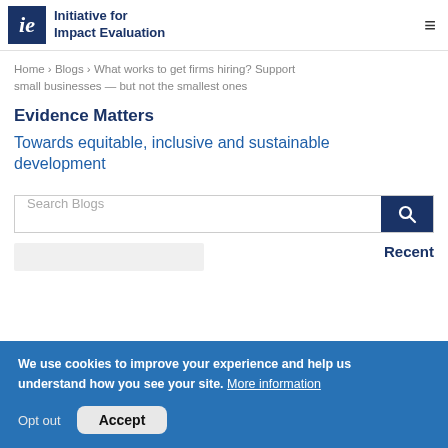Initiative for Impact Evaluation
Home › Blogs › What works to get firms hiring? Support small businesses — but not the smallest ones
Evidence Matters
Towards equitable, inclusive and sustainable development
Search Blogs
Recent
We use cookies to improve your experience and help us understand how you see your site. More information

Opt out  Accept